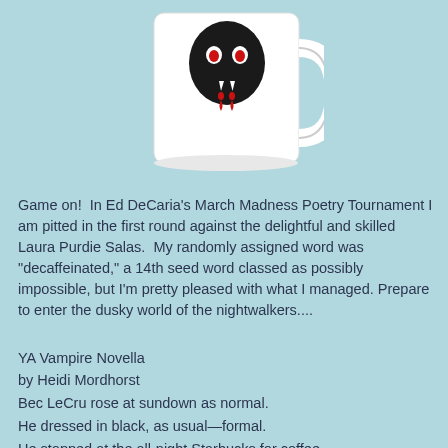[Figure (photo): A white ceramic mug with a vampire-themed design showing fangs and red blood drops on a light blue background]
Game on!  In Ed DeCaria's March Madness Poetry Tournament I am pitted in the first round against the delightful and skilled Laura Purdie Salas.  My randomly assigned word was "decaffeinated," a 14th seed word classed as possibly impossible, but I'm pretty pleased with what I managed. Prepare to enter the dusky world of the nightwalkers....
YA Vampire Novella
by Heidi Mordhorst
Bec LeCru rose at sundown as normal.
He dressed in black, as usual—formal.
He stopped at the all-night Starbucks for coffee.
He ordered espresso with two shots of toffee.
The barista's mistake: serving decaffeinated.